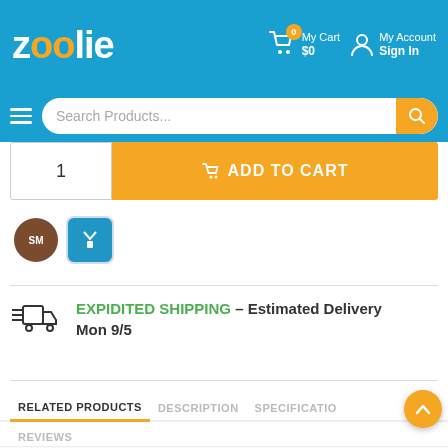zoolie – My Cart $0 | My Account Sign In
Search Products...
1  ADD TO CART
[Figure (illustration): Two seller icons: brown circle with 'SM' text and blue rounded square with 'W' ribbon icon]
EXPIDITED SHIPPING – Estimated Delivery Mon 9/5
RELATED PRODUCTS  DESCRIPTION  SPECIFICATIONS  REVIEWS